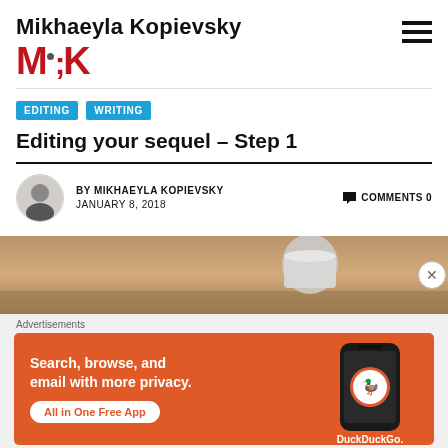Mikhaeyla Kopievsky M;K
EDITING   WRITING
Editing your sequel – Step 1
BY MIKHAEYLA KOPIEVSKY   COMMENTS 0
JANUARY 8, 2018
[Figure (photo): Blurred photo of a coffee cup on a wooden desk]
Advertisements
[Figure (screenshot): DuckDuckGo advertisement: Search, browse, and email with more privacy. All in One Free App. Shows DuckDuckGo logo on a phone.]